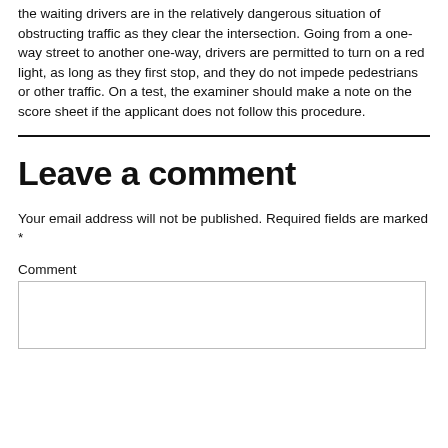the waiting drivers are in the relatively dangerous situation of obstructing traffic as they clear the intersection. Going from a one-way street to another one-way, drivers are permitted to turn on a red light, as long as they first stop, and they do not impede pedestrians or other traffic. On a test, the examiner should make a note on the score sheet if the applicant does not follow this procedure.
Leave a comment
Your email address will not be published. Required fields are marked *
Comment